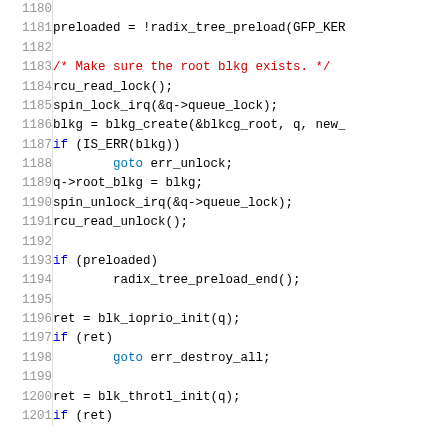Source code listing lines 1180–1201